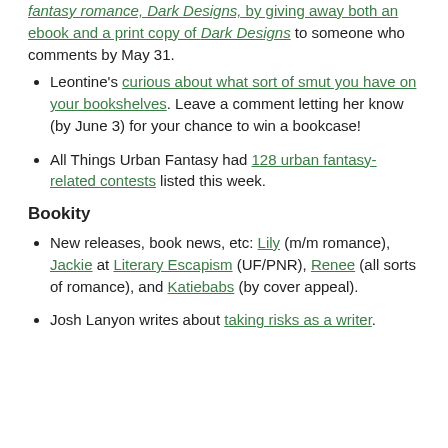fantasy romance, Dark Designs, by giving away both an ebook and a print copy of Dark Designs to someone who comments by May 31.
Leontine's curious about what sort of smut you have on your bookshelves. Leave a comment letting her know (by June 3) for your chance to win a bookcase!
All Things Urban Fantasy had 128 urban fantasy-related contests listed this week.
Bookity
New releases, book news, etc: Lily (m/m romance), Jackie at Literary Escapism (UF/PNR), Renee (all sorts of romance), and Katiebabs (by cover appeal).
Josh Lanyon writes about taking risks as a writer.